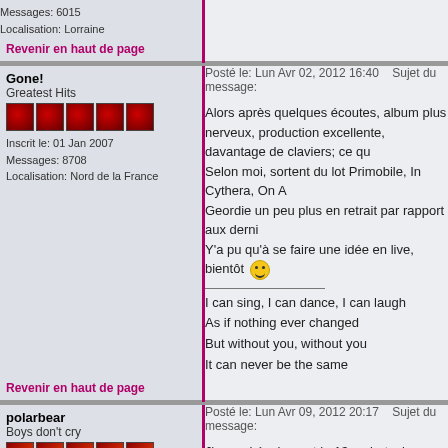Messages: 6015
Localisation: Lorraine
Revenir en haut de page
Gone!
Greatest Hits
Inscrit le: 01 Jan 2007
Messages: 8708
Localisation: Nord de la France
Posté le: Lun Avr 02, 2012 16:40    Sujet du message:
Alors après quelques écoutes, album plus nerveux, production excellente, davantage de claviers; ce qu Selon moi, sortent du lot Primobile, In Cythera, On A Geordie un peu plus en retrait par rapport aux derni Y'a pu qu'à se faire une idée en live, bientôt
I can sing, I can dance, I can laugh
As if nothing ever changed
But without you, without you
It can never be the same
Revenir en haut de page
polarbear
Boys don't cry
Posté le: Lun Avr 09, 2012 20:17    Sujet du message:
J'y serai également le 13 au bataclan
je ne m'en lasse pas de ce nouvel album